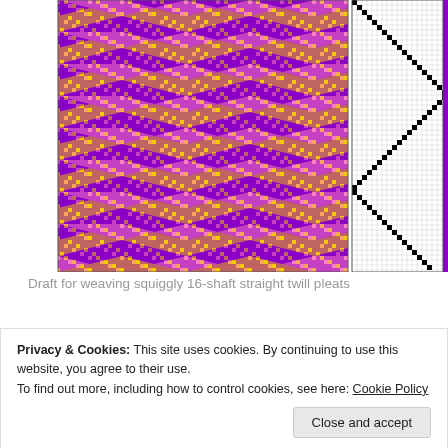[Figure (illustration): Weaving draft diagram for squiggly 16-shaft straight twill pleats. Left portion shows colorful fabric simulation with zigzag/chevron pattern in purple, yellow, and pink. Right portion shows black-and-white threading/tie-up grid pattern.]
Draft for weaving squiggly 16-shaft straight twill pleats
Privacy & Cookies: This site uses cookies. By continuing to use this website, you agree to their use.
To find out more, including how to control cookies, see here: Cookie Policy
20/2 red rayon for the weft at about 38 p.p.i. This sample